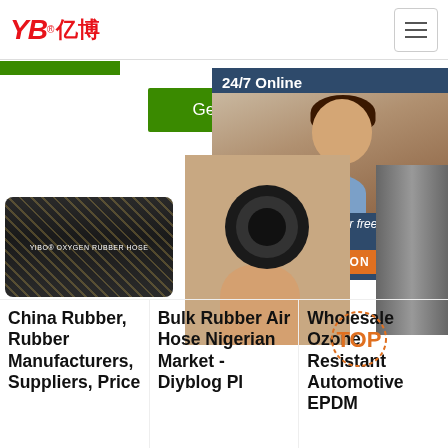[Figure (screenshot): YB亿博 company logo in red italic text with Chinese characters]
[Figure (screenshot): Hamburger menu button (three horizontal lines) in a bordered box]
[Figure (screenshot): Green 'Get Price' button]
[Figure (screenshot): 24/7 Online chat widget with customer service agent photo, 'Click here for free chat!' text, and orange QUOTATION button]
[Figure (photo): Black rubber hose with YIBO OXYGEN RUBBER HOSE text and braided exterior]
[Figure (photo): Hand holding rubber hose cross-section showing inner bore]
China Rubber, Rubber Manufacturers, Suppliers, Price
Bulk Rubber Air Hose Nigerian Market - Diyblog Pl
Wholesale Ozone Resistant Automotive EPDM